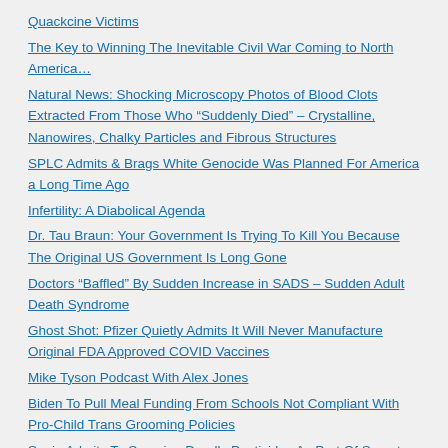Quackcine Victims
The Key to Winning The Inevitable Civil War Coming to North America…
Natural News: Shocking Microscopy Photos of Blood Clots Extracted From Those Who “Suddenly Died” – Crystalline, Nanowires, Chalky Particles and Fibrous Structures
SPLC Admits & Brags White Genocide Was Planned For America a Long Time Ago
Infertility: A Diabolical Agenda
Dr. Tau Braun: Your Government Is Trying To Kill You Because The Original US Government Is Long Gone
Doctors “Baffled” By Sudden Increase in SADS – Sudden Adult Death Syndrome
Ghost Shot: Pfizer Quietly Admits It Will Never Manufacture Original FDA Approved COVID Vaccines
Mike Tyson Podcast With Alex Jones
Biden To Pull Meal Funding From Schools Not Compliant With Pro-Child Trans Grooming Policies
Spain Admits To Spraying Deadly Pesticides As Part Of Secret UN